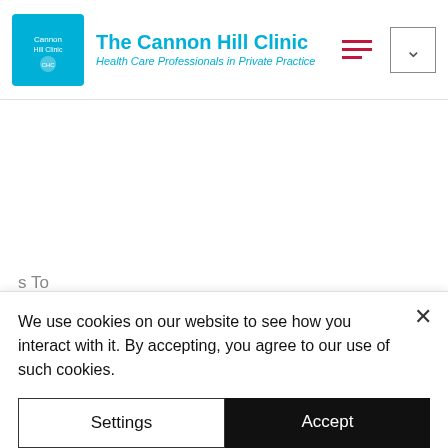The Cannon Hill Clinic — Health Care Professionals in Private Practice
s To downloading or watching The Bob's Burgers Movie (2022) streaming the full movie online for free. The Bob's Burgers Movie (2022) will be available to watch online on Netflix very soon!
We use cookies on our website to see how you interact with it. By accepting, you agree to our use of such cookies.
Settings
Accept